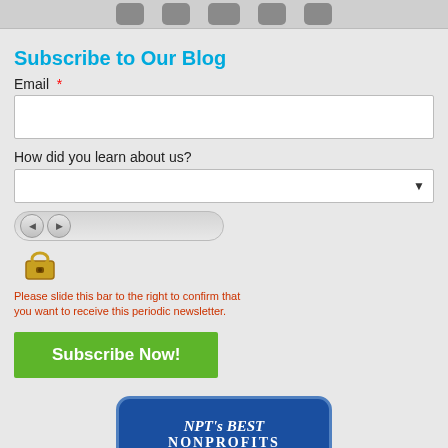[Figure (screenshot): Top bar with social media icons (Facebook, Twitter, LinkedIn, YouTube, RSS)]
Subscribe to Our Blog
Email *
[Figure (screenshot): Email input text field (white box)]
How did you learn about us?
[Figure (screenshot): Dropdown select field]
[Figure (screenshot): Slider bar with left/right arrow buttons and lock icon, for CAPTCHA confirmation]
Please slide this bar to the right to confirm that you want to receive this periodic newsletter.
[Figure (screenshot): Green Subscribe Now! button]
[Figure (logo): NPT's BEST NONPROFITS badge in blue rounded rectangle]